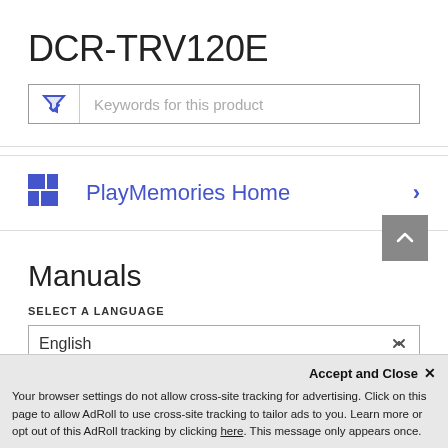DCR-TRV120E
[Figure (screenshot): Search/filter input box with funnel icon and placeholder text 'Keywords for this product']
PlayMemories Home
Manuals
SELECT A LANGUAGE
[Figure (screenshot): Language dropdown showing 'English']
Accept and Close ✕
Your browser settings do not allow cross-site tracking for advertising. Click on this page to allow AdRoll to use cross-site tracking to tailor ads to you. Learn more or opt out of this AdRoll tracking by clicking here. This message only appears once.